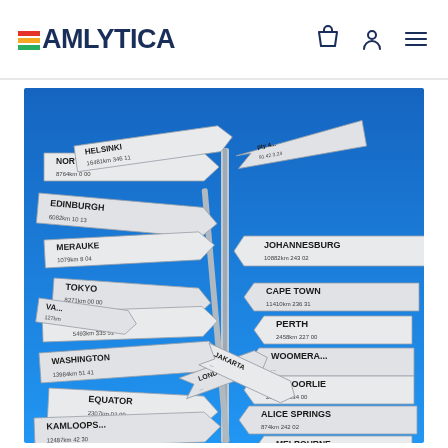TEAMLYTICA — navigation header with logo, shopping bag icon, user icon, and menu icon
[Figure (photo): A directional signpost sculpture with multiple white arrow signs pointing in various directions, each labeled with a world city or location and distance. Cities visible include: NORTH POLE, HELSINKI, EDINBURGH, MERAUKE, TOKYO, HONG KONG, WASHINGTON, EQUATOR, KAMLOOPS, JOHANNESBURG, CAPE TOWN, PERTH, WOOMERA, KALGOORLIE, ALICE SPRINGS, MELBOURNE, LONDON, JAKARTA. Background is bright blue sky.]